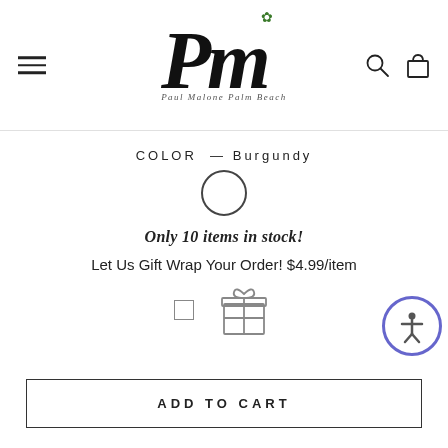[Figure (logo): Paul Malone Palm Beach script logo with leaf accent and subtitle]
COLOR — Burgundy
[Figure (other): Single white/empty color swatch circle for Burgundy color selection]
Only 10 items in stock!
Let Us Gift Wrap Your Order! $4.99/item
[Figure (other): Checkbox and gift box icon for gift wrap option]
ADD TO CART